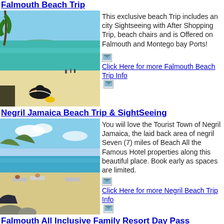Falmouth Beach Trip
[Figure (photo): Beach scene with turquoise water, white sand, people, and a seabird in foreground]
This exclusive beach Trip includes an city Sightseeing with After Shopping Trip, beach chairs and is Offered on Falmouth and Montego bay Ports!
Click Here for more Falmouth Beach Trip Info
Negril Jamaica Beach Trip & SightSeeing
[Figure (photo): Negril beach with thatched umbrellas, lounge chairs, clear water and sky]
You wiil love the Tourist Town of Negril Jamaica, the laid back area of negril Seven (7) miles of Beach All the Famous Hotel properties along this beautiful place. Book early as spaces are limited.
Click Here for more Negril Beach Trip Info
Falmouth All Inclusive Family Resort Day Pass
[Figure (photo): Resort building with white columns and tropical setting]
Spend your day in port at one of Jamaica's finest Family All Inclusive Resorts. This Express Travel Jamaica Exclusive gives you all you can eat Unlimited